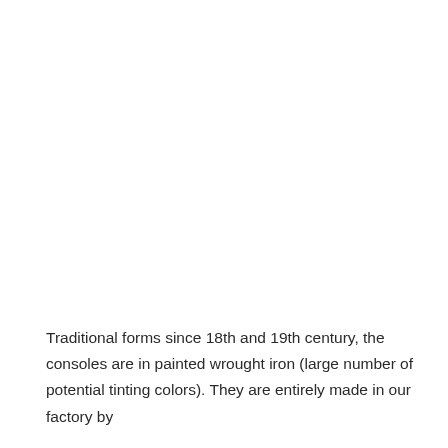Traditional forms since 18th and 19th century, the consoles are in painted wrought iron (large number of potential tinting colors). They are entirely made in our factory by